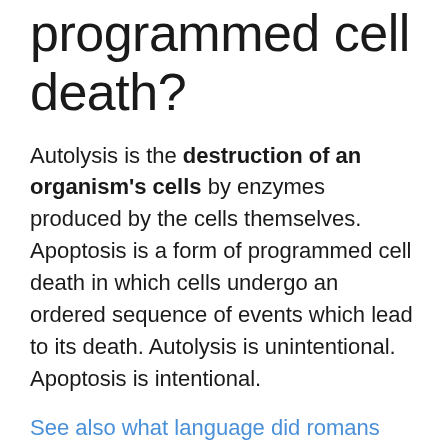programmed cell death?
Autolysis is the destruction of an organism's cells by enzymes produced by the cells themselves. Apoptosis is a form of programmed cell death in which cells undergo an ordered sequence of events which lead to its death. Autolysis is unintentional. Apoptosis is intentional.
See also what language did romans speak
What is autolysis in sparkling wine?